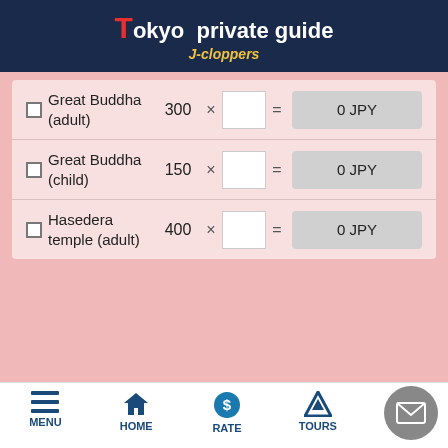Tokyo private guide J-cloppers
Great Buddha (adult) 300 × [input] = 0 JPY
Great Buddha (child) 150 × [input] = 0 JPY
Hasedera temple (adult) 400 × [input] = 0 JPY
MENU  HOME  RATE  TOURS  CONTACT